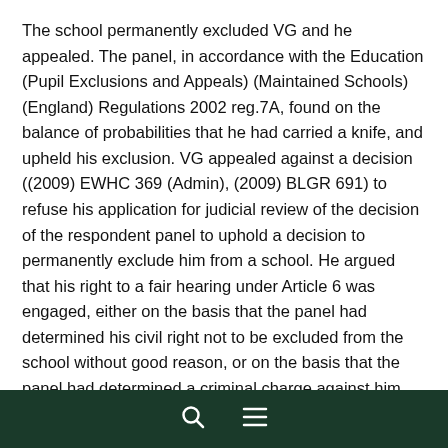The school permanently excluded VG and he appealed. The panel, in accordance with the Education (Pupil Exclusions and Appeals) (Maintained Schools) (England) Regulations 2002 reg.7A, found on the balance of probabilities that he had carried a knife, and upheld his exclusion. VG appealed against a decision ((2009) EWHC 369 (Admin), (2009) BLGR 691) to refuse his application for judicial review of the decision of the respondent panel to uphold a decision to permanently exclude him from a school. He argued that his right to a fair hearing under Article 6 was engaged, either on the basis that the panel had determined his civil right not to be excluded from the school without good reason, or on the basis that the panel had determined a criminal charge against him, and that right had been infringed by the decision to exclude him having been based on allegations established against him on the balance of probabilities rather than on the criminal standard of proof. He
🔍 ☰